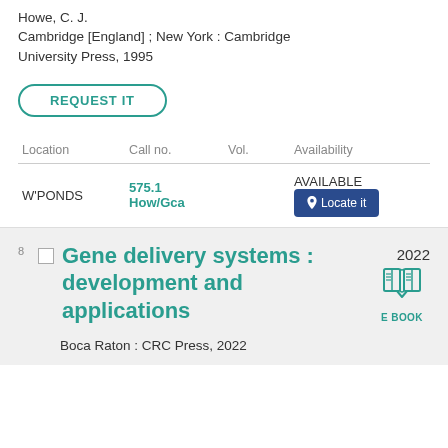Howe, C. J.
Cambridge [England] ; New York : Cambridge University Press, 1995
REQUEST IT
| Location | Call no. | Vol. | Availability |
| --- | --- | --- | --- |
| W'PONDS | 575.1 How/Gca |  | AVAILABLE |
Gene delivery systems : development and applications
2022
E BOOK
Boca Raton : CRC Press, 2022